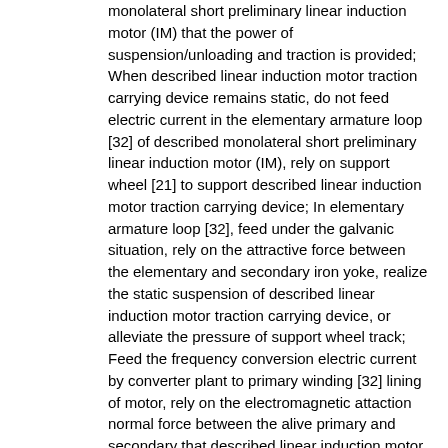monolateral short preliminary linear induction motor (IM) that the power of suspension/unloading and traction is provided; When described linear induction motor traction carrying device remains static, do not feed electric current in the elementary armature loop [32] of described monolateral short preliminary linear induction motor (IM), rely on support wheel [21] to support described linear induction motor traction carrying device; In elementary armature loop [32], feed under the galvanic situation, rely on the attractive force between the elementary and secondary iron yoke, realize the static suspension of described linear induction motor traction carrying device, or alleviate the pressure of support wheel track; Feed the frequency conversion electric current by converter plant to primary winding [32] lining of motor, rely on the electromagnetic attaction normal force between the alive primary and secondary that described linear induction motor traction carrying device is floated, rely on the tangential electromagnetic force draw gear operation between the alive primary and secondary; When described linear induction motor traction carrying device heavier, can not satisfy and suspend fully when requiring, electric motor primary [3] and secondary between normal force, be the part weight that electromagnetic attraction is offset described linear induction motor traction carrying device, the power that loads in orbit by support wheel [21] is reduced, alleviate by the pressure of